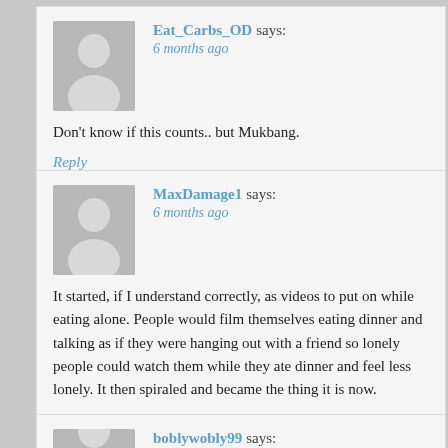Eat_Carbs_OD says: 6 months ago
Don't know if this counts.. but Mukbang.
Reply
MaxDamage1 says: 6 months ago
It started, if I understand correctly, as videos to put on while eating alone. People would film themselves eating dinner and talking as if they were hanging out with a friend so lonely people could watch them while they ate dinner and feel less lonely. It then spiraled and became the thing it is now.
Reply
boblywobly99 says: